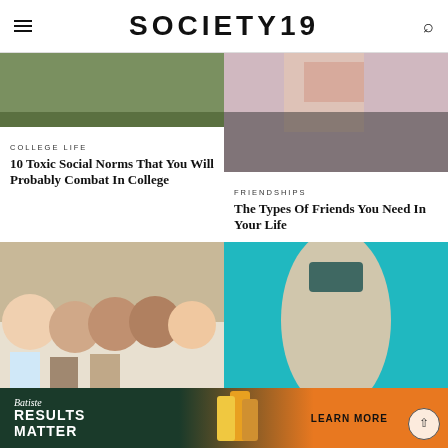SOCIETY19
[Figure (photo): Outdoor green area photo, top of card 1]
COLLEGE LIFE
10 Toxic Social Norms That You Will Probably Combat In College
[Figure (photo): Person in pink winter outfit, top of card 2]
FRIENDSHIPS
The Types Of Friends You Need In Your Life
[Figure (photo): Cast of Friends TV show drinking milkshakes]
[Figure (photo): Person floating in teal pool water]
[Figure (other): Batiste hair product advertisement banner - Results Matter, Learn More]